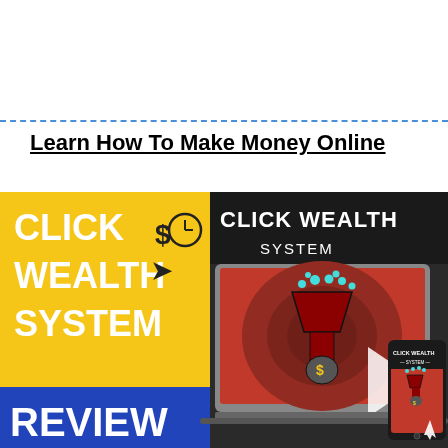Learn How To Make Money Online
[Figure (illustration): Click Wealth System Review promotional banner with yellow left panel showing 'CLICK WEALTH SYSTEM REVIEW' text in white and blue, center/right showing a laptop and phone with funnel/money imagery and 'CLICK WEALTH SYSTEM' branding on dark background.]